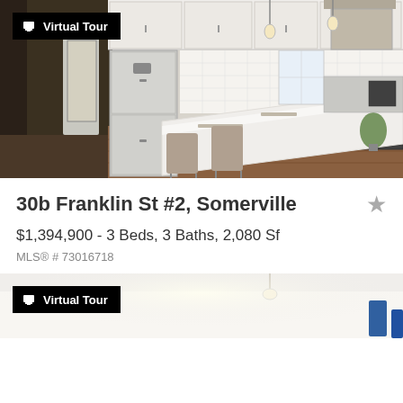[Figure (photo): Interior kitchen photo of 30b Franklin St #2, Somerville showing white cabinets, stainless steel refrigerator, kitchen island with stools, pendant lighting, and tile backsplash. Has Virtual Tour badge overlay.]
30b Franklin St #2, Somerville
$1,394,900 - 3 Beds, 3 Baths, 2,080 Sf
MLS® # 73016718
[Figure (photo): Partial view of a second property interior photo with Virtual Tour badge overlay, showing bright white surfaces.]